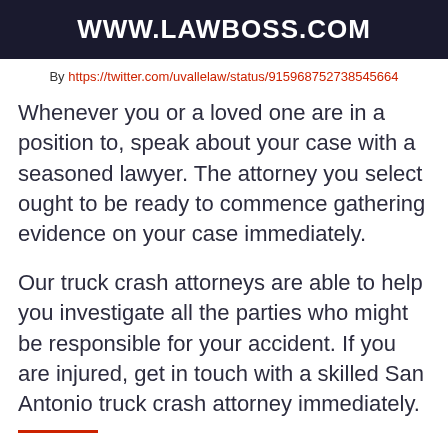WWW.LAWBOSS.COM
By https://twitter.com/uvallelaw/status/915968752738545664
Whenever you or a loved one are in a position to, speak about your case with a seasoned lawyer. The attorney you select ought to be ready to commence gathering evidence on your case immediately.
Our truck crash attorneys are able to help you investigate all the parties who might be responsible for your accident. If you are injured, get in touch with a skilled San Antonio truck crash attorney immediately.